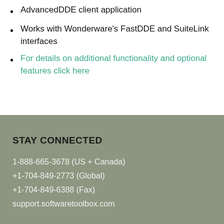AdvancedDDE client application
Works with Wonderware's FastDDE and SuiteLink interfaces
For details on additional functionality and optional features click here
STAY CONNECTED
1-888-665-3678 (US + Canada)
+1-704-849-2773 (Global)
+1-704-849-6388 (Fax)
support.softwaretoolbox.com